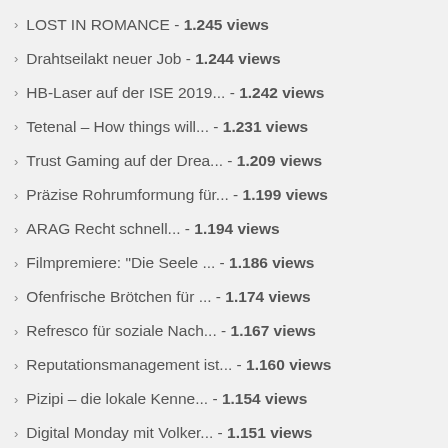LOST IN ROMANCE - 1.245 views
Drahtseilakt neuer Job - 1.244 views
HB-Laser auf der ISE 2019... - 1.242 views
Tetenal – How things will... - 1.231 views
Trust Gaming auf der Drea... - 1.209 views
Präzise Rohrumformung für... - 1.199 views
ARAG Recht schnell... - 1.194 views
Filmpremiere: "Die Seele ... - 1.186 views
Ofenfrische Brötchen für ... - 1.174 views
Refresco für soziale Nach... - 1.167 views
Reputationsmanagement ist... - 1.160 views
Pizipi – die lokale Kenne... - 1.154 views
Digital Monday mit Volker... - 1.151 views
Tipps zum Schutz vor Anst... - 1.107 views
Wir suchen Ferienhäuser F... - 1.104 views
Was ist ein Aneurysma an... - 1.094 views